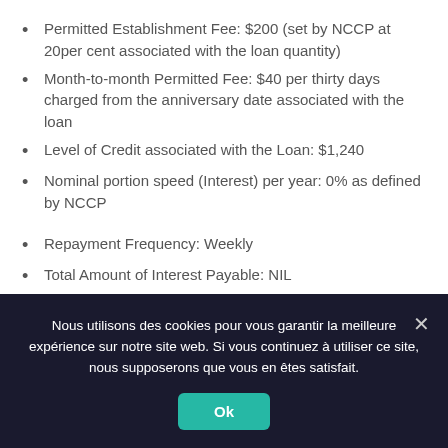Permitted Establishment Fee: $200 (set by NCCP at 20per cent associated with the loan quantity)
Month-to-month Permitted Fee: $40 per thirty days charged from the anniversary date associated with the loan
Level of Credit associated with the Loan: $1,240
Nominal portion speed (Interest) per year: 0% as defined by NCCP
Repayment Frequency: Weekly
Total Amount of Interest Payable: NIL
Final amount of Repayments: 26
Composed of 25 re re re re payments of $55.38 and
Nous utilisons des cookies pour vous garantir la meilleure expérience sur notre site web. Si vous continuez à utiliser ce site, nous supposerons que vous en êtes satisfait.